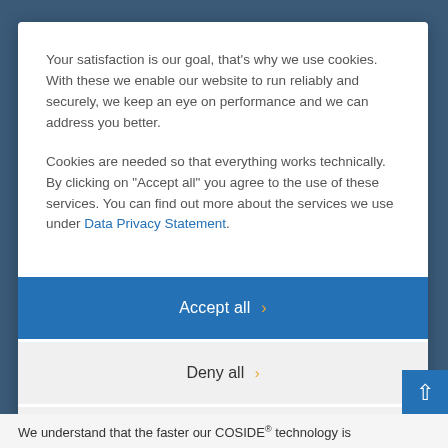Your satisfaction is our goal, that's why we use cookies. With these we enable our website to run reliably and securely, we keep an eye on performance and we can address you better.
Cookies are needed so that everything works technically. By clicking on "Accept all" you agree to the use of these services. You can find out more about the services we use under Data Privacy Statement.
Accept all ›
Deny all ›
Privacy settings ›
We understand that the faster our COSIDE® technology is